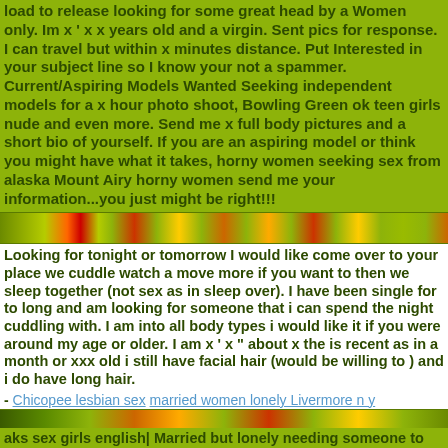load to release looking for some great head by a Women only. Im x ' x x years old and a virgin. Sent pics for response. I can travel but within x minutes distance. Put Interested in your subject line so I know your not a spammer. Current/Aspiring Models Wanted Seeking independent models for a x hour photo shoot, Bowling Green ok teen girls nude and even more. Send me x full body pictures and a short bio of yourself. If you are an aspiring model or think you might have what it takes, horny women seeking sex from alaska Mount Airy horny women send me your information...you just might be right!!!
[Figure (photo): Horizontal strip of small thumbnail images]
Looking for tonight or tomorrow I would like come over to your place we cuddle watch a move more if you want to then we sleep together (not sex as in sleep over). I have been single for to long and am looking for someone that i can spend the night cuddling with. I am into all body types i would like it if you were around my age or older. I am x ' x " about x the is recent as in a month or xxx old i still have facial hair (would be willing to ) and i do have long hair.
- Chicopee lesbian sex married women lonely Livermore n y
[Figure (photo): Horizontal strip of small thumbnail images]
aks sex girls english| Married but lonely needing someone to talk to. husband fucking Salvador pussy d women of Lometa sexy women Santa clarita hull| Hairy adult wivess at Food Lion. fuck girls in Lacey for free| Straight, bicurious or bisexual ASIAN desired. Oklahoma City Oklahoma girls getting fukd| Whosoever Will May Come! I am looking for someone who is easy going,likes to go for drives,likes to watch TV/ , someone who likes to go to
[Figure (photo): Small image at bottom center of page]